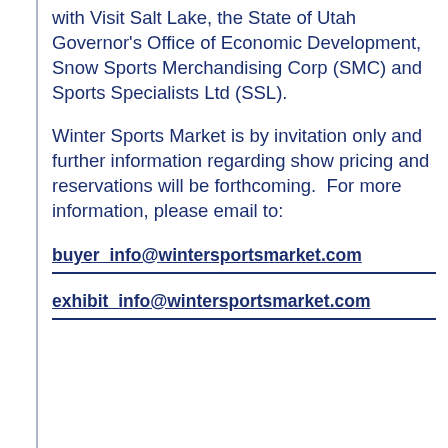with Visit Salt Lake, the State of Utah Governor's Office of Economic Development, Snow Sports Merchandising Corp (SMC) and Sports Specialists Ltd (SSL).
Winter Sports Market is by invitation only and further information regarding show pricing and reservations will be forthcoming.  For more information, please email to:
buyer_info@wintersportsmarket.com
exhibit_info@wintersportsmarket.com